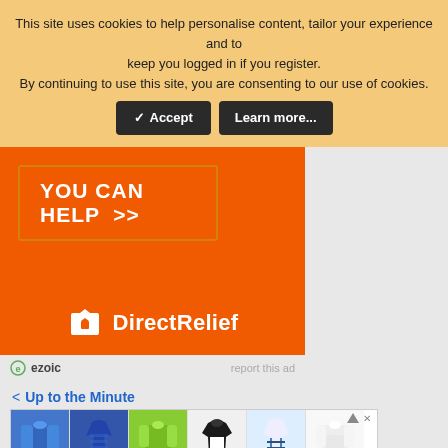This site uses cookies to help personalise content, tailor your experience and to keep you logged in if you register. By continuing to use this site, you are consenting to our use of cookies.
[Figure (other): Cookie consent banner with Accept and Learn more buttons on a light yellow/orange background]
[Figure (other): Direct Relief charity advertisement on orange background with 'YOU CAN HELP >>' button and DirectRelief logo]
ezoic   report this ad
< Up to the Minute
[Figure (other): Modlily fashion advertisement showing clothing items with the Modlily logo]